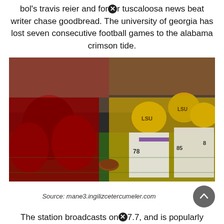bol's travis reier and former tuscaloosa news beat writer chase goodbread. The university of georgia has lost seven consecutive football games to the alabama crimson tide.
[Figure (photo): Football players from Alabama (red uniforms) and LSU (gold/white uniforms) lined up at the line of scrimmage, facing each other at a night game.]
Source: mane3.ingilizcetercumeler.com
The station broadcasts on 97.7, and is popularly known